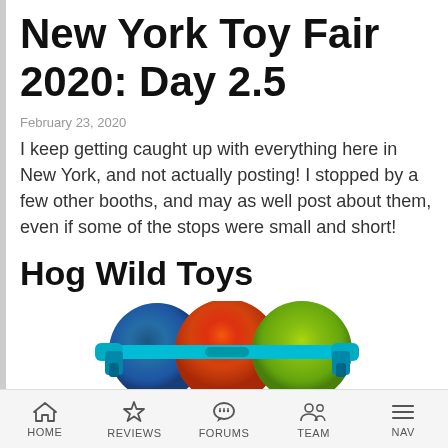New York Toy Fair 2020: Day 2.5
February 23, 2020
I keep getting caught up with everything here in New York, and not actually posting! I stopped by a few other booths, and may as well post about them, even if some of the stops were small and short!
Hog Wild Toys
[Figure (photo): Photo of Hog Wild Toys products — colorful disc shooters with blue handles and multi-colored patterned discs]
HOME  REVIEWS  FORUMS  TEAM  NAV